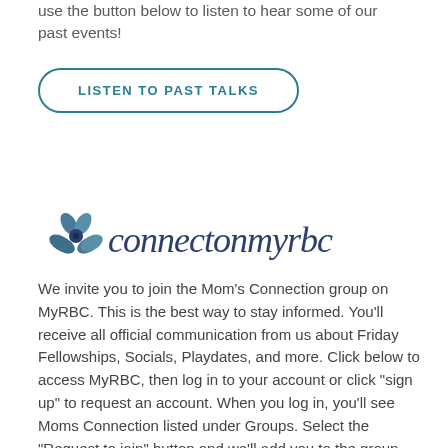use the button below to listen to hear some of our past events!
[Figure (other): Button with text LISTEN TO PAST TALKS, teal rounded rectangle border]
[Figure (logo): connectonmyrbc logo with blue flower icon and cursive text]
We invite you to join the Mom’s Connection group on MyRBC.  This is the best way to stay informed. You’ll receive all official communication from us about Friday Fellowships, Socials, Playdates, and more.  Click below to access MyRBC, then log in to your account or click “sign up” to request an account. When you log in, you’ll see Moms Connection listed under Groups. Select the “Request to join” button and we’ll add you to the group